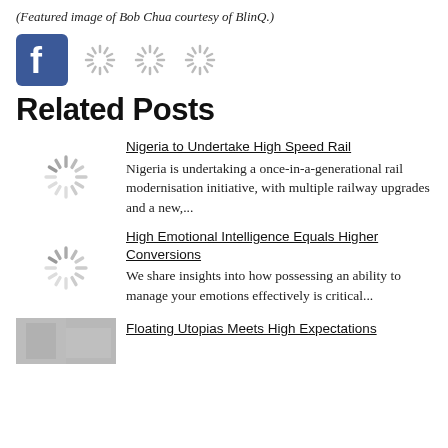(Featured image of Bob Chua courtesy of BlinQ.)
[Figure (logo): Facebook logo icon (blue square with white 'f') and three loading spinner icons in a row]
Related Posts
[Figure (other): Loading spinner thumbnail placeholder for first related post]
Nigeria to Undertake High Speed Rail
Nigeria is undertaking a once-in-a-generational rail modernisation initiative, with multiple railway upgrades and a new,...
[Figure (other): Loading spinner thumbnail placeholder for second related post]
High Emotional Intelligence Equals Higher Conversions
We share insights into how possessing an ability to manage your emotions effectively is critical...
[Figure (photo): Partial image thumbnail (grayscale) for third related post]
Floating Utopias Meets High Expectations